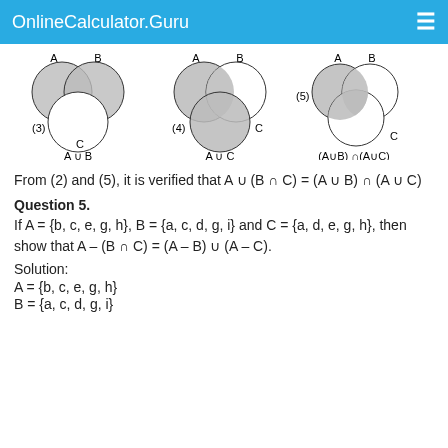OnlineCalculator.Guru
[Figure (illustration): Three Venn diagrams showing set operations: (3) A∪B with three circles A, B, C; (4) A∪C with three circles A, B, C; (5) (A∪B)∩(A∪C) with three circles A, B, C. Shaded regions indicate the respective set operations.]
From (2) and (5), it is verified that A ∪ (B ∩ C) = (A ∪ B) ∩ (A ∪ C)
Question 5.
If A = {b, c, e, g, h}, B = {a, c, d, g, i} and C = {a, d, e, g, h}, then show that A – (B ∩ C) = (A – B) ∪ (A – C).
Solution:
A = {b, c, e, g, h}
B = {a, c, d, g, i}